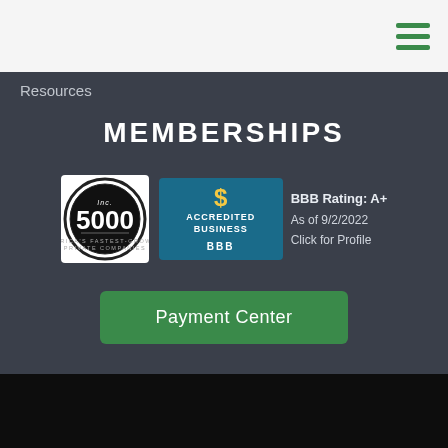[Figure (logo): Hamburger menu icon with three green horizontal bars in top right corner]
Resources
MEMBERSHIPS
[Figure (logo): Inc. 5000 circular badge logo in black and white]
[Figure (logo): BBB Accredited Business badge with blue background and dollar sign icon, with BBB Rating: A+ text, As of 9/2/2022, Click for Profile]
Payment Center
© 2022 All Rights Reserved. Cogent Analytics Inc.